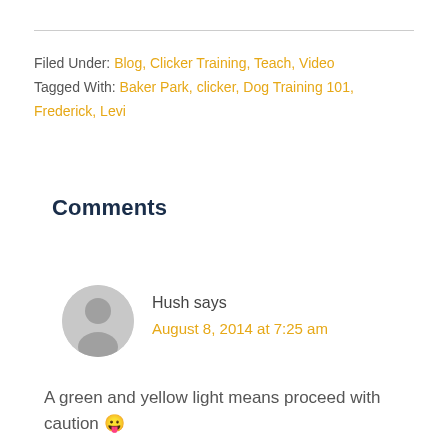Filed Under: Blog, Clicker Training, Teach, Video
Tagged With: Baker Park, clicker, Dog Training 101, Frederick, Levi
Comments
Hush says
August 8, 2014 at 7:25 am
A green and yellow light means proceed with caution 😛